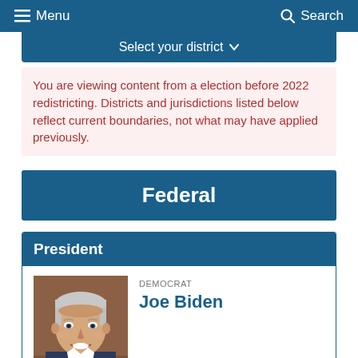Menu  Search
Select your district
You are viewing content from a election before 2022 redistricting. Districts and jurisdictions listed below reflect current boundaries, not what may have applied previously.
Federal
President
[Figure (photo): Portrait photo of Joe Biden smiling]
DEMOCRAT
Joe Biden